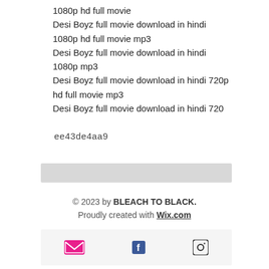1080p hd full movie
Desi Boyz full movie download in hindi
1080p hd full movie mp3
Desi Boyz full movie download in hindi
1080p mp3
Desi Boyz full movie download in hindi 720p
hd full movie mp3
Desi Boyz full movie download in hindi 720
ee43de4aa9
© 2023 by BLEACH TO BLACK.
Proudly created with Wix.com
[Figure (other): Footer social media icons: email (envelope), Facebook, Instagram]